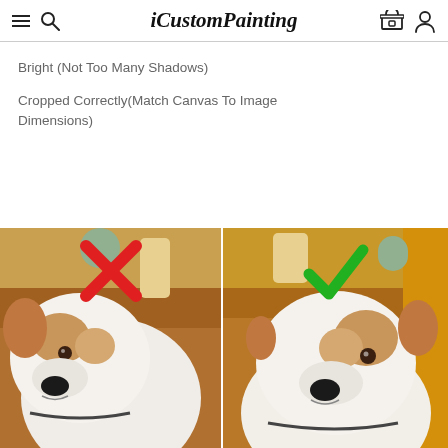iCustomPainting
Bright (Not Too Many Shadows)
Cropped Correctly(Match Canvas To Image Dimensions)
[Figure (photo): Two side-by-side photos of a dog. Left image has a red X mark indicating incorrect cropping (too zoomed in, head cut off). Right image has a green checkmark indicating correct cropping (full face visible, properly framed).]